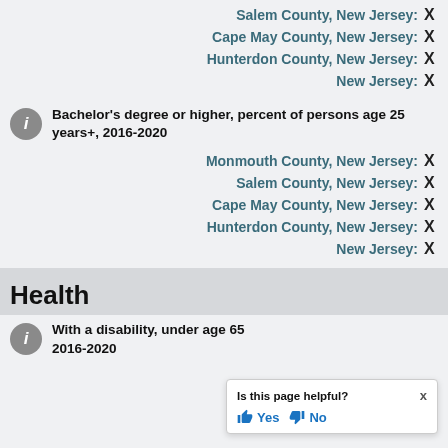Salem County, New Jersey: X
Cape May County, New Jersey: X
Hunterdon County, New Jersey: X
New Jersey: X
Bachelor's degree or higher, percent of persons age 25 years+, 2016-2020
Monmouth County, New Jersey: X
Salem County, New Jersey: X
Cape May County, New Jersey: X
Hunterdon County, New Jersey: X
New Jersey: X
Health
With a disability, under age 65, 2016-2020